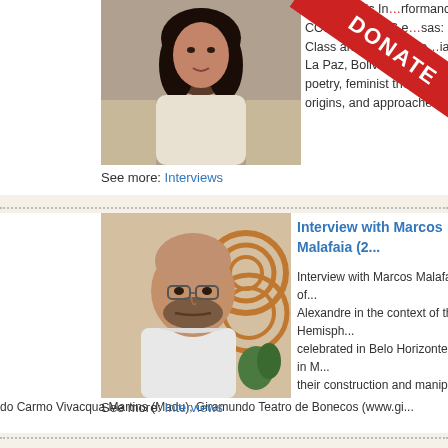[Figure (photo): Photo of a woman with dark hair wearing a white wrap]
Hemispheric In... ...rformance a... CORPOLÍTICAS e... ...sas: For... Class and Gender Bio... ...ia Ga... La Paz, Bolivia, that perfo... ...e a... poetry, feminist theory and se... origins, and approaches creativi...
See more: Interviews
[Figure (photo): Photo of a bald man with a beard wearing a white t-shirt]
Interview with Marcos Malafaia (2...)
Interview with Marcos Malafaia, one of... Alexandre in the context of the Hemisph... celebrated in Belo Horizonte, Brazil in M... their construction and manipulation tech... creation, performance and pedagogy. T... performing Brazilian heritage, paying sp... Orixás, and Cobra Norato. Finally, Mala... Collodis text to puppet theater. Biograp...
do Carmo Vivacqua Martins (Madu), Giramundo Teatro de Bonecos (www.gi...
See more: Interviews